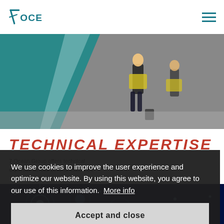7 OCEAN
[Figure (photo): Airport scene with people walking, teal/teal geometric overlay on left side]
TECHNICAL EXPERTISE
7 Ocean Group offers technical expertise across several industries
We use cookies to improve the user experience and optimize our website. By using this website, you agree to our use of this information.  More info
Accept and close
[Figure (photo): Dark blue fireworks/sparkle background image]